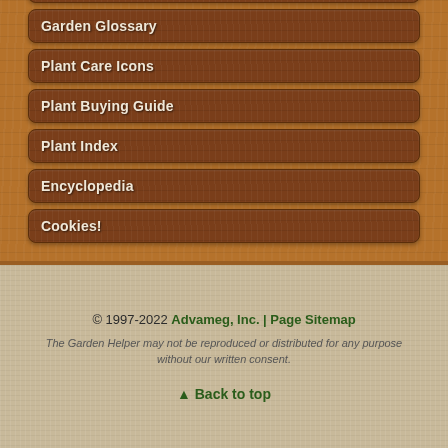Garden Tool Care
Garden Glossary
Plant Care Icons
Plant Buying Guide
Plant Index
Encyclopedia
Cookies!
© 1997-2022 Advameg, Inc. | Page Sitemap
The Garden Helper may not be reproduced or distributed for any purpose without our written consent.
▲ Back to top